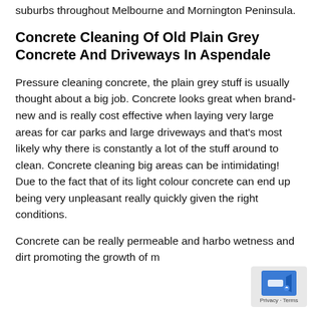suburbs throughout Melbourne and Mornington Peninsula.
Concrete Cleaning Of Old Plain Grey Concrete And Driveways In Aspendale
Pressure cleaning concrete, the plain grey stuff is usually thought about a big job. Concrete looks great when brand-new and is really cost effective when laying very large areas for car parks and large driveways and that's most likely why there is constantly a lot of the stuff around to clean. Concrete cleaning big areas can be intimidating! Due to the fact that of its light colour concrete can end up being very unpleasant really quickly given the right conditions.
Concrete can be really permeable and harbo wetness and dirt promoting the growth of m...